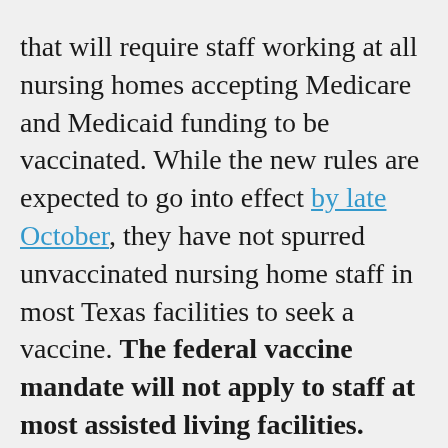that will require staff working at all nursing homes accepting Medicare and Medicaid funding to be vaccinated. While the new rules are expected to go into effect by late October, they have not spurred unvaccinated nursing home staff in most Texas facilities to seek a vaccine. The federal vaccine mandate will not apply to staff at most assisted living facilities.

Also, Texas Gov. Greg Abbott recently issued an executive order barring COVID-19 vaccination mandates. The Texas Health and Human Services Commission told Texas Standard in an email that it is reviewing the executive order and “will also examine the CMS rules when finalized to identify any potential impacts.” The agency also reiterated that it currently does not